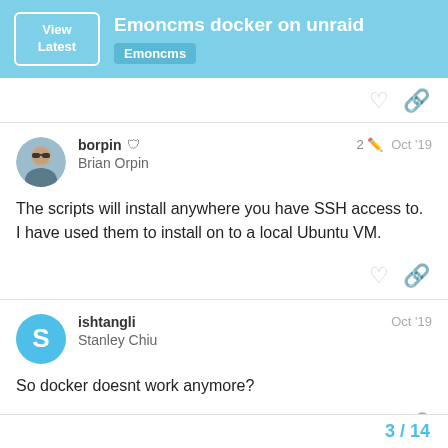Emoncms docker on unraid | Emoncms
borpin
Brian Orpin
2 Oct '19
The scripts will install anywhere you have SSH access to. I have used them to install on to a local Ubuntu VM.
ishtangli
Stanley Chiu
Oct '19
So docker doesnt work anymore?
3 / 14